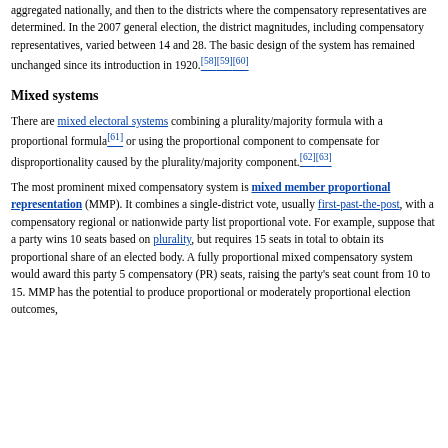aggregated nationally, and then to the districts where the compensatory representatives are determined. In the 2007 general election, the district magnitudes, including compensatory representatives, varied between 14 and 28. The basic design of the system has remained unchanged since its introduction in 1920.[58][59][60]
Mixed systems
There are mixed electoral systems combining a plurality/majority formula with a proportional formula[61] or using the proportional component to compensate for disproportionality caused by the plurality/majority component.[62][63]
The most prominent mixed compensatory system is mixed member proportional representation (MMP). It combines a single-district vote, usually first-past-the-post, with a compensatory regional or nationwide party list proportional vote. For example, suppose that a party wins 10 seats based on plurality, but requires 15 seats in total to obtain its proportional share of an elected body. A fully proportional mixed compensatory system would award this party 5 compensatory (PR) seats, raising the party's seat count from 10 to 15. MMP has the potential to produce proportional or moderately proportional election outcomes,